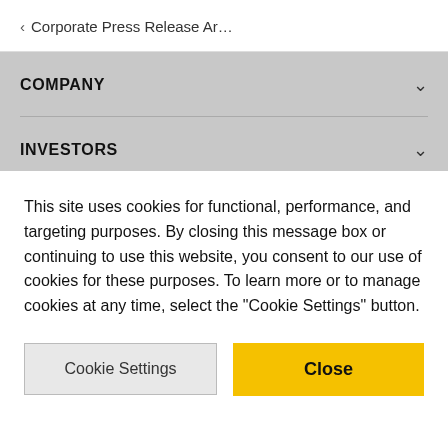< Corporate Press Release Ar…
COMPANY
INVESTORS
This site uses cookies for functional, performance, and targeting purposes. By closing this message box or continuing to use this website, you consent to our use of cookies for these purposes. To learn more or to manage cookies at any time, select the "Cookie Settings" button.
Cookie Settings
Close